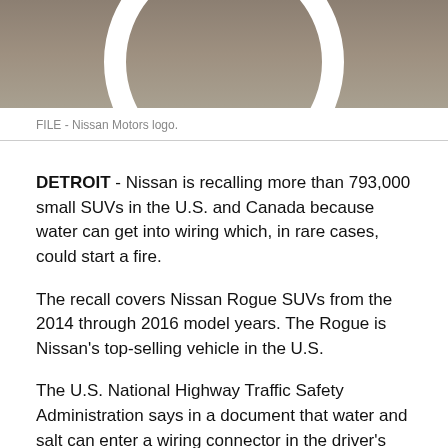[Figure (photo): Partial view of Nissan Motors logo — a white oval ring on a tan/brown background, cropped at top of page]
FILE - Nissan Motors logo.
DETROIT - Nissan is recalling more than 793,000 small SUVs in the U.S. and Canada because water can get into wiring which, in rare cases, could start a fire.
The recall covers Nissan Rogue SUVs from the 2014 through 2016 model years. The Rogue is Nissan's top-selling vehicle in the U.S.
The U.S. National Highway Traffic Safety Administration says in a document that water and salt can enter a wiring connector in the driver's footwell, causing corrosion.